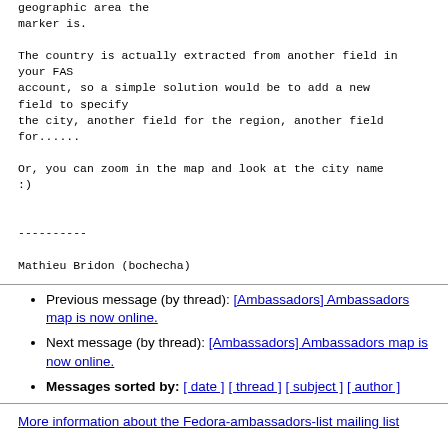geographic area the
marker is.

The country is actually extracted from another field in your FAS
account, so a simple solution would be to add a new field to specify
the city, another field for the region, another field for......

Or, you can zoom in the map and look at the city name :)


----------

Mathieu Bridon (bochecha)
Previous message (by thread): [Ambassadors] Ambassadors map is now online.
Next message (by thread): [Ambassadors] Ambassadors map is now online.
Messages sorted by: [ date ] [ thread ] [ subject ] [ author ]
More information about the Fedora-ambassadors-list mailing list